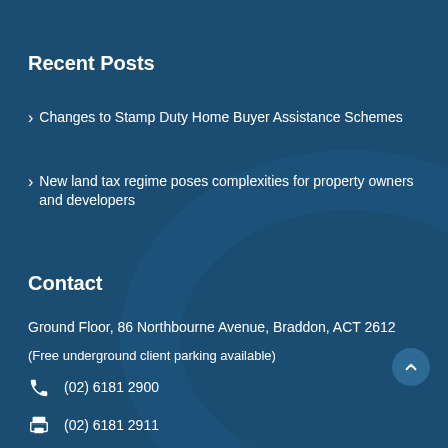Recent Posts
Changes to Stamp Duty Home Buyer Assistance Schemes
New land tax regime poses complexities for property owners and developers
Contact
Ground Floor, 86 Northbourne Avenue, Braddon, ACT 2612
(Free underground client parking available)
(02) 6181 2900
(02) 6181 2911